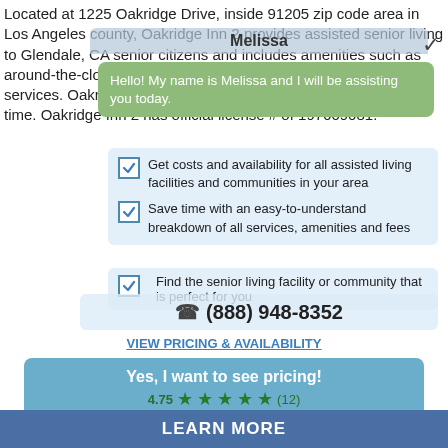Located at 1225 Oakridge Drive, inside 91205 zip code area in Los Angeles county, Oakridge Inn 2 provides assisted senior living to Glendale, CA senior citizens and includes amenities such as around-the-clock staff, a tailored service plan and religious services. Oakridge Inn 2 can accommodate up to 6 seniors at a time. Oakridge Inn 2 has official license # of 197609081.
[Figure (screenshot): Chat widget overlay showing 'Melissa' header with green speech bubble saying 'Hello! My name is Melissa and I will be assisting you today.']
Get costs and availability for all assisted living facilities and communities in your area
Save time with an easy-to-understand breakdown of all services, amenities and fees
Find the senior living facility or community that is perfect for you
(888) 948-8352
VIEW PRICING & AVAILABILITY
Yes, I want to see pricing!
4.75 ★★★★★ (12)
Or call (888) 948-8352
LEARN MORE